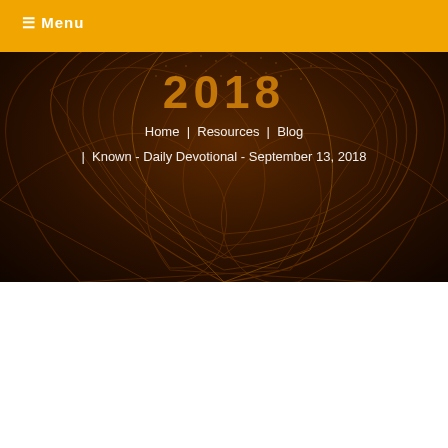☰ Menu
[Figure (screenshot): Dark brown textured hero banner with swirling fabric/wood grain pattern and dotted overlay, with partially visible logo text at top]
Home | Resources | Blog | Known - Daily Devotional - September 13, 2018